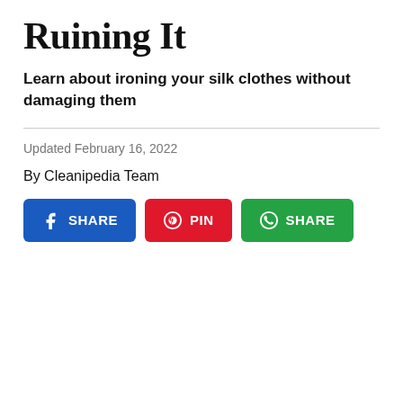Ruining It
Learn about ironing your silk clothes without damaging them
Updated February 16, 2022
By Cleanipedia Team
[Figure (infographic): Three social share buttons: Facebook SHARE (blue), Pinterest PIN (red), WhatsApp SHARE (green)]
[Figure (photo): Light blue-grey placeholder/image area at the bottom of the page]